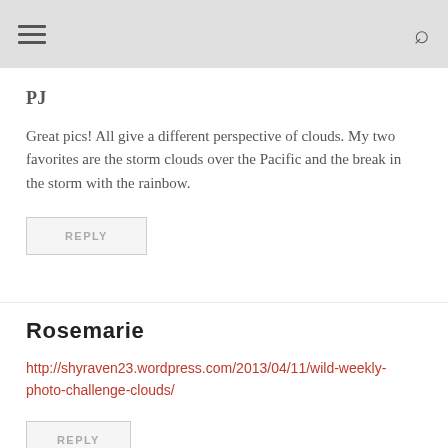☰ [menu icon] | [search icon]
PJ
Great pics! All give a different perspective of clouds. My two favorites are the storm clouds over the Pacific and the break in the storm with the rainbow.
REPLY
Rosemarie
http://shyraven23.wordpress.com/2013/04/11/wild-weekly-photo-challenge-clouds/
REPLY